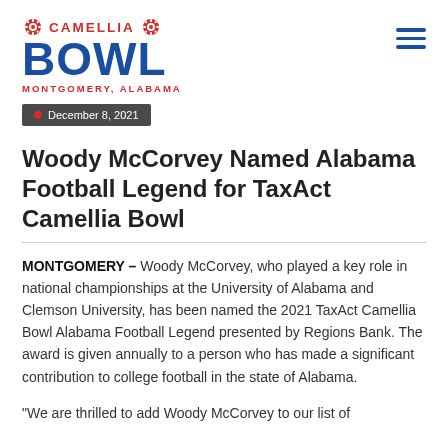[Figure (logo): Camellia Bowl logo with two red gear/flower icons flanking 'CAMELLIA' text in red, large blue 'BOWL' text, and 'MONTGOMERY, ALABAMA' in red below]
December 8, 2021
Woody McCorvey Named Alabama Football Legend for TaxAct Camellia Bowl
MONTGOMERY – Woody McCorvey, who played a key role in national championships at the University of Alabama and Clemson University, has been named the 2021 TaxAct Camellia Bowl Alabama Football Legend presented by Regions Bank. The award is given annually to a person who has made a significant contribution to college football in the state of Alabama.
“We are thrilled to add Woody McCorvey to our list of